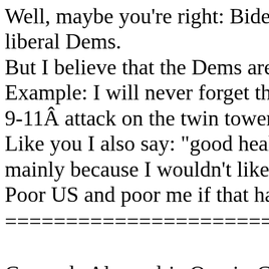Well, maybe you're right: Biden is liberal Dems. But I believe that the Dems are so i Example: I will never forget that D 9-11Â attack on the twin towers. Sh Like you I also say: "good health to mainly because I wouldn't like to h Poor US and poor me if that happen ================================ Comrade Alexandria Ocasio-Cortez from her in New York without busi I strongly believe that she does not Comrade Alexandria Ocasio-Corte